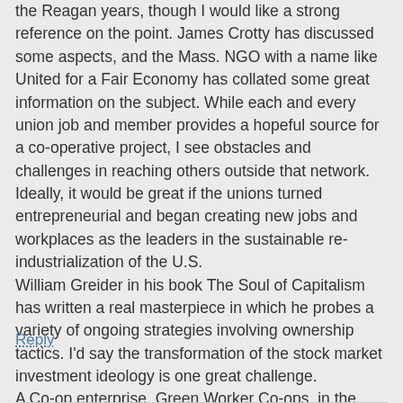the Reagan years, though I would like a strong reference on the point. James Crotty has discussed some aspects, and the Mass. NGO with a name like United for a Fair Economy has collated some great information on the subject. While each and every union job and member provides a hopeful source for a co-operative project, I see obstacles and challenges in reaching others outside that network. Ideally, it would be great if the unions turned entrepreneurial and began creating new jobs and workplaces as the leaders in the sustainable re-industrialization of the U.S. William Greider in his book The Soul of Capitalism has written a real masterpiece in which he probes a variety of ongoing strategies involving ownership tactics. I'd say the transformation of the stock market investment ideology is one great challenge. A Co-op enterprise, Green Worker Co-ops, in the South Bronx, NY has begun co-op entrepreneurship training that provides an inspiring example of a related approach.
Reply